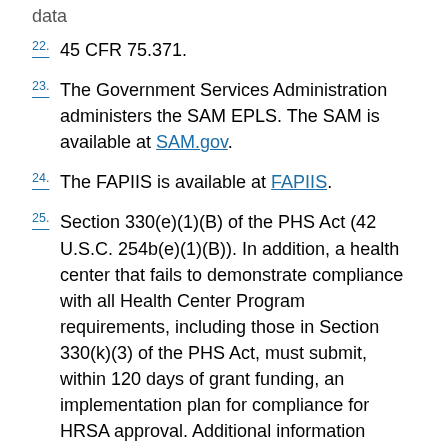data
22. 45 CFR 75.371.
23. The Government Services Administration administers the SAM EPLS. The SAM is available at SAM.gov.
24. The FAPIIS is available at FAPIIS.
25. Section 330(e)(1)(B) of the PHS Act (42 U.S.C. 254b(e)(1)(B)). In addition, a health center that fails to demonstrate compliance with all Health Center Program requirements, including those in Section 330(k)(3) of the PHS Act, must submit, within 120 days of grant funding, an implementation plan for compliance for HRSA approval. Additional information related to this implementation plan will be included in the applicable Notices of Funding Opportunity and